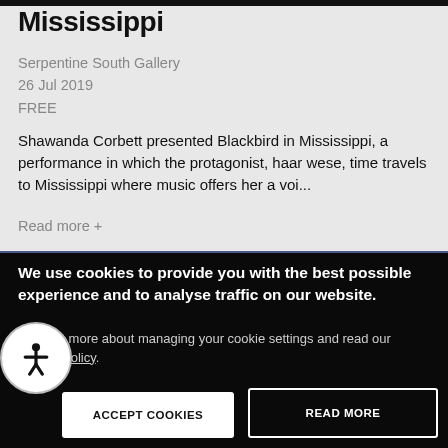Mississippi
Serpentine South Gallery
26 Jul 2019
FREE
Shawanda Corbett presented Blackbird in Mississippi, a performance in which the protagonist, haar wese, time travels to Mississippi where music offers her a voi...
Read more +
We use cookies to provide you with the best possible experience and to analyse traffic on our website.
Find out more about managing your cookie settings and read our Cookie Policy.
ACCEPT COOKIES
READ MORE